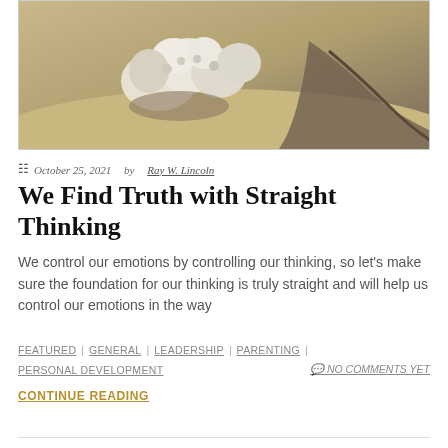[Figure (photo): Close-up photograph of white coral or fungal growth on sandy/rocky surface with driftwood in background]
October 25, 2021 by Ray W. Lincoln
We Find Truth with Straight Thinking
We control our emotions by controlling our thinking, so let's make sure the foundation for our thinking is truly straight and will help us control our emotions in the way
FEATURED | GENERAL | LEADERSHIP | PARENTING | PERSONAL DEVELOPMENT   💬 NO COMMENTS YET
CONTINUE READING